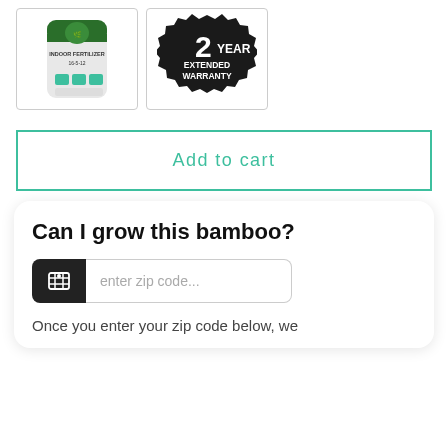[Figure (photo): Thumbnail of a green fertilizer bag product (bamboo fertilizer 16-5-12)]
[Figure (illustration): Dark badge/seal with text: 2 YEAR EXTENDED WARRANTY]
Add to cart
Can I grow this bamboo?
enter zip code...
Once you enter your zip code below, we